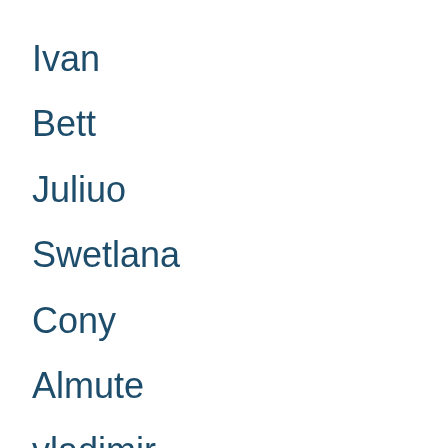Ivan
Bett
Juliuo
Swetlana
Cony
Almute
vladimir
Hauke